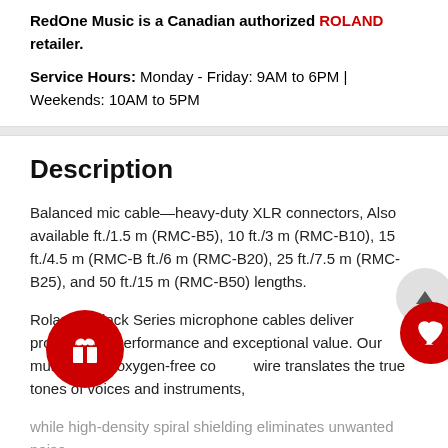RedOne Music is a Canadian authorized ROLAND retailer.
Service Hours: Monday - Friday: 9AM to 6PM | Weekends: 10AM to 5PM
Description
Balanced mic cable—heavy-duty XLR connectors,  Also available ft./1.5 m (RMC-B5), 10 ft./3 m (RMC-B10), 15 ft./4.5 m (RMC-B ft./6 m (RMC-B20), 25 ft./7.5 m (RMC-B25),  and 50 ft./15 m (RMC-B50) lengths.
Roland's Black Series microphone cables deliver professional performance and exceptional value. Our multi-strand, oxygen-free co wire translates the true tones of voices and instruments, while high-density spiral shielding eliminates unwanted noise.